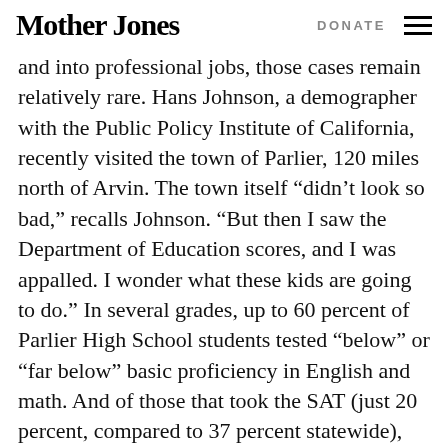Mother Jones | DONATE
and into professional jobs, those cases remain relatively rare. Hans Johnson, a demographer with the Public Policy Institute of California, recently visited the town of Parlier, 120 miles north of Arvin. The town itself “didn’t look so bad,” recalls Johnson. “But then I saw the Department of Education scores, and I was appalled. I wonder what these kids are going to do.” In several grades, up to 60 percent of Parlier High School students tested “below” or “far below” basic proficiency in English and math. And of those that took the SAT (just 20 percent, compared to 37 percent statewide), only 1 percent scored over 1,000.
The statistics aren’t very different at Arvin High.